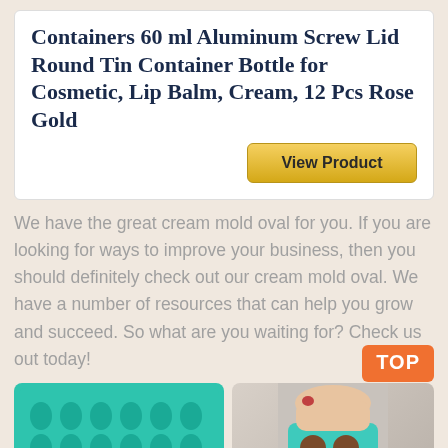Containers 60 ml Aluminum Screw Lid Round Tin Container Bottle for Cosmetic, Lip Balm, Cream, 12 Pcs Rose Gold
View Product
We have the great cream mold oval for you. If you are looking for ways to improve your business, then you should definitely check out our cream mold oval. We have a number of resources that can help you grow and succeed. So what are you waiting for? Check us out today!
[Figure (photo): Green silicone mold tray with oval cavities arranged in a grid]
[Figure (photo): Hand holding a teal silicone mold with brown circular items]
TOP